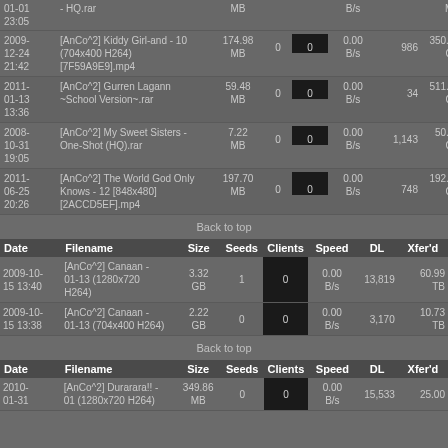| Date | Filename | Size | Seeds | Clients | Speed | DL | Xfer'd |
| --- | --- | --- | --- | --- | --- | --- | --- |
| 2009-12-24 21:42 | [AnCo^2] Kiddy Girl-and - 10 (704x400 H264) [7F59A9E9].mp4 | 174.98 MB | 0 | 0 | 0.00 B/s | 986 | 350.19 GB |
| 2011-01-13 13:36 | [AnCo^2] Gurren Lagann ~School Version~.rar | 59.48 MB | 0 | 0 | 0.00 B/s | 34 | 511.36 GB |
| 2008-10-31 19:05 | [AnCo^2] My Sweet Sisters - One-Shot (HQ).rar | 7.22 MB | 0 | 0 | 0.00 B/s | 1,143 | 50.43 GB |
| 2011-06-25 20:26 | [AnCo^2] The World God Only Knows - 12 [848x480] [2ACCD5EF].mp4 | 197.70 MB | 0 | 0 | 0.00 B/s | 748 | 192.13 GB |
Back to top
| Date | Filename | Size | Seeds | Clients | Speed | DL | Xfer'd |
| --- | --- | --- | --- | --- | --- | --- | --- |
| 2009-10-15 13:40 | [AnCo^2] Canaan - 01-13 (1280x720 H264) | 3.32 GB | 1 | 0 | 0.00 B/s | 13,819 | 60.99 TB |
| 2009-10-15 13:38 | [AnCo^2] Canaan - 01-13 (704x400 H264) | 2.22 GB | 0 | 0 | 0.00 B/s | 3,170 | 10.73 TB |
Back to top
| Date | Filename | Size | Seeds | Clients | Speed | DL | Xfer'd |
| --- | --- | --- | --- | --- | --- | --- | --- |
| 2010-01-31 | [AnCo^2] Durarara!! - 01 (1280x720 H264) | 349.86 MB | 0 | 0 | 0.00 B/s | 15,533 | 25.00 |